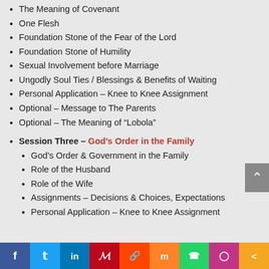The Meaning of Covenant
One Flesh
Foundation Stone of the Fear of the Lord
Foundation Stone of Humility
Sexual Involvement before Marriage
Ungodly Soul Ties / Blessings & Benefits of Waiting
Personal Application – Knee to Knee Assignment
Optional – Message to The Parents
Optional – The Meaning of “Lobola”
Session Three – God’s Order in the Family
God’s Order & Government in the Family
Role of the Husband
Role of the Wife
Assignments – Decisions & Choices, Expectations
Personal Application – Knee to Knee Assignment